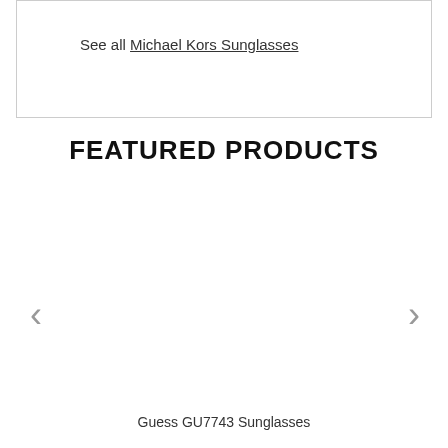See all Michael Kors Sunglasses
FEATURED PRODUCTS
[Figure (other): Carousel navigation arrows (left chevron and right chevron) with empty product carousel area]
Guess GU7743 Sunglasses